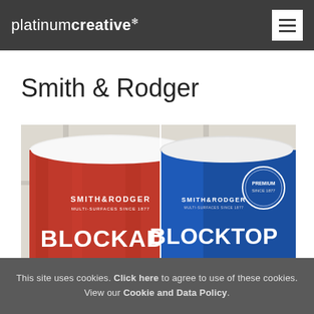platinumcreative*
Smith & Rodger
[Figure (photo): Two paint cans side by side: left can is red with 'SMITH & RODGER BLOCKADE' branding, right can is blue with 'SMITH & RODGER BLOCKTOP Multi-Surface' branding, displayed on a white surface near a window.]
This site uses cookies. Click here to agree to use of these cookies. View our Cookie and Data Policy.